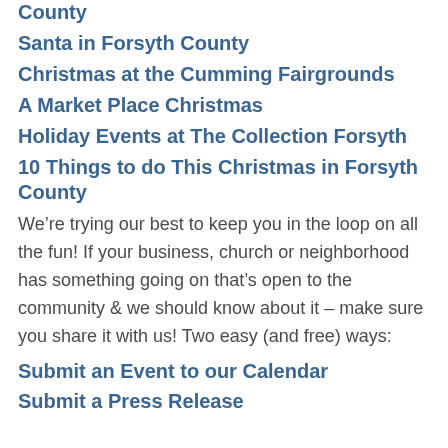County
Santa in Forsyth County
Christmas at the Cumming Fairgrounds
A Market Place Christmas
Holiday Events at The Collection Forsyth
10 Things to do This Christmas in Forsyth County
We’re trying our best to keep you in the loop on all the fun!  If your business, church or neighborhood has something going on that’s open to the community & we should know about it – make sure you share it with us!  Two easy (and free) ways:
Submit an Event to our Calendar
Submit a Press Release